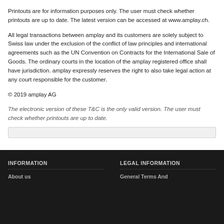Printouts are for information purposes only. The user must check whether printouts are up to date. The latest version can be accessed at www.amplay.ch.
All legal transactions between amplay and its customers are solely subject to Swiss law under the exclusion of the conflict of law principles and international agreements such as the UN Convention on Contracts for the International Sale of Goods. The ordinary courts in the location of the amplay registered office shall have jurisdiction. amplay expressly reserves the right to also take legal action at any court responsible for the customer.
© 2019 amplay AG
The electronic version of these T&C is the only valid version. The user must check whether printouts are up to date.
INFORMATION | About us | LEGAL INFORMATION | General Terms And